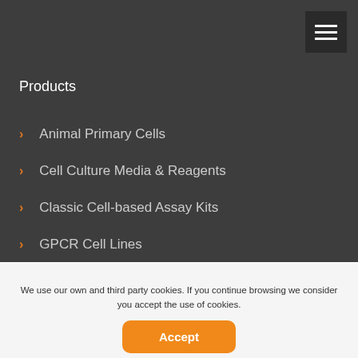Products
Animal Primary Cells
Cell Culture Media & Reagents
Classic Cell-based Assay Kits
GPCR Cell Lines
Human Primary Cells
Stable Cell Lines
We use our own and third party cookies. If you continue browsing we consider you accept the use of cookies.
Accept